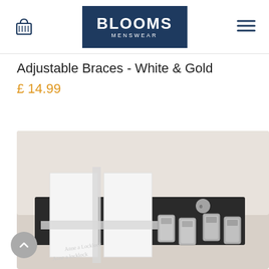BLOOMS MENSWEAR
Adjustable Braces - White & Gold
£ 14.99
[Figure (photo): Product photo of white and gold adjustable braces in packaging, showing white fabric straps and gold/silver metal clips displayed in a dark-edged box with brand label.]